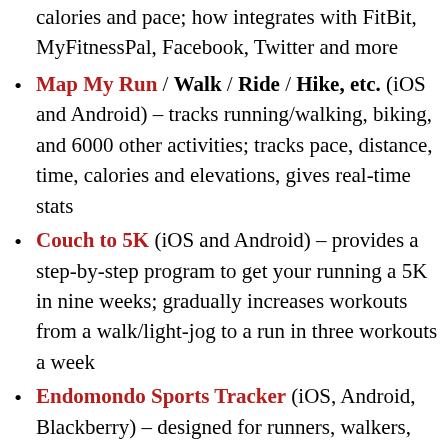calories and pace; how integrates with FitBit, MyFitnessPal, Facebook, Twitter and more
Map My Run / Walk / Ride / Hike, etc. (iOS and Android) – tracks running/walking, biking, and 6000 other activities; tracks pace, distance, time, calories and elevations, gives real-time stats
Couch to 5K (iOS and Android) – provides a step-by-step program to get your running a 5K in nine weeks; gradually increases workouts from a walk/light-jog to a run in three workouts a week
Endomondo Sports Tracker (iOS, Android, Blackberry) – designed for runners, walkers, bikers, etc.; uses GPS to track routes; get pep talks, motivation and notifications each time you break a mile
You can find more detailed descriptions and reviews online and decide for yourself which apps will help you